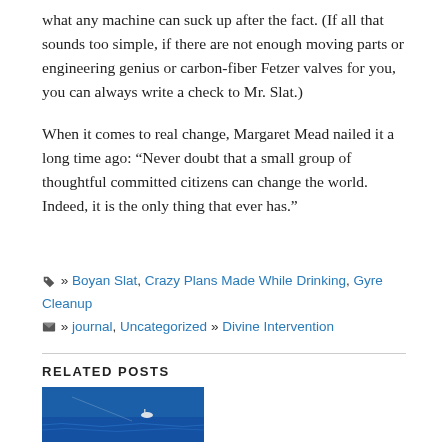what any machine can suck up after the fact. (If all that sounds too simple, if there are not enough moving parts or engineering genius or carbon-fiber Fetzer valves for you, you can always write a check to Mr. Slat.)
When it comes to real change, Margaret Mead nailed it a long time ago: “Never doubt that a small group of thoughtful committed citizens can change the world. Indeed, it is the only thing that ever has.”
🏷 » Boyan Slat, Crazy Plans Made While Drinking, Gyre Cleanup 🏠 » journal, Uncategorized » Divine Intervention
RELATED POSTS
[Figure (photo): Blue ocean photo with a small vessel or object visible, related post thumbnail]